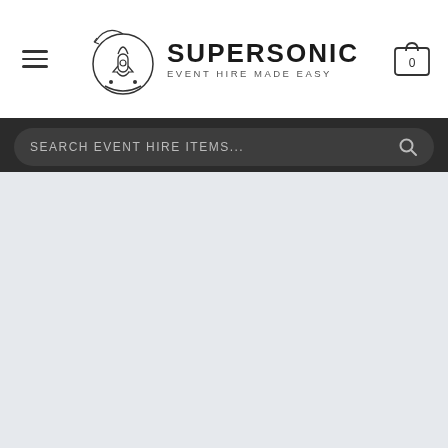Supersonic Event Hire Made Easy — website header with hamburger menu, logo, and cart icon
SEARCH EVENT HIRE ITEMS...
[Figure (screenshot): Light grey content area below the search bar, representing the main page body of a website]